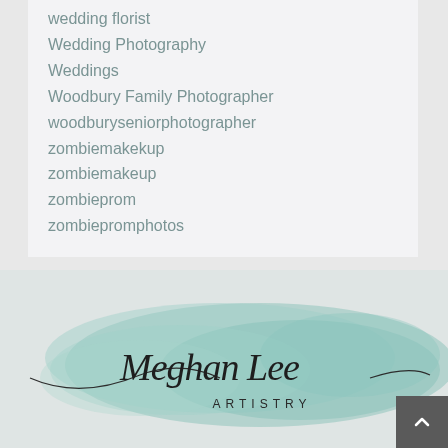wedding florist
Wedding Photography
Weddings
Woodbury Family Photographer
woodburyseniorphotographer
zombiemakekup
zombiemakeup
zombieprom
zombiepromphotos
[Figure (logo): Meghan Lee Artistry logo with teal watercolor splash background and cursive script text reading 'Meghan Lee' with 'ARTISTRY' in small caps below]